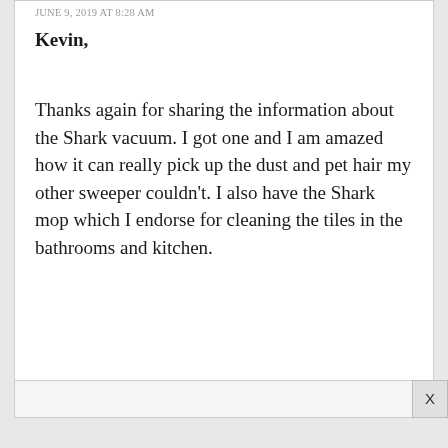JUNE 9, 2019 AT 8:28 AM
Kevin,
Thanks again for sharing the information about the Shark vacuum. I got one and I am amazed how it can really pick up the dust and pet hair my other sweeper couldn't. I also have the Shark mop which I endorse for cleaning the tiles in the bathrooms and kitchen.
You are like a fountain of knowledge....Thanks